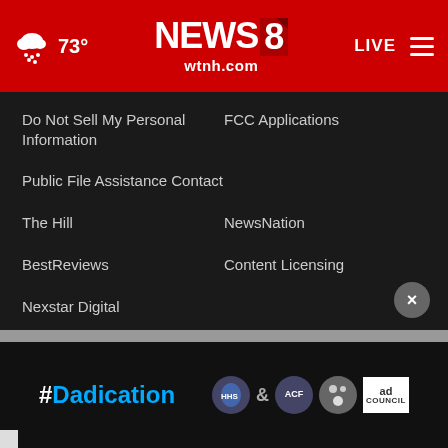[Figure (screenshot): NEWS 8 WTNH.com website header with red background, weather icon showing 73°, NEWS 8 logo, LIVE button, and hamburger menu]
Do Not Sell My Personal Information
FCC Applications
Public File Assistance Contact
The Hill
NewsNation
BestReviews
Content Licensing
Nexstar Digital
© 1998 - 2022 Nexstar Media Inc. | All Rights Reserved.
[Figure (screenshot): Advertisement banner for #Dadication campaign with HHS, ACF, National Responsible Fatherhood Clearinghouse, and Ad Council logos]